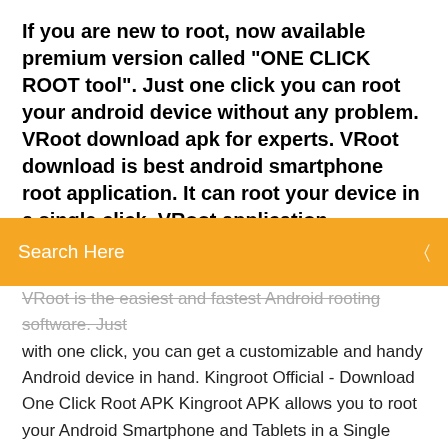If you are new to root, now available premium version called "ONE CLICK ROOT tool". Just one click you can root your android device without any problem. VRoot download apk for experts. VRoot download is best android smartphone root application. It can root your device in a single click. VRoot application developed by M...
Search Here
VRoot is the easiest and fastest Android rooting software. Just with one click, you can get a customizable and handy Android device in hand. Kingroot Official - Download One Click Root APK Kingroot APK allows you to root your Android Smartphone and Tablets in a Single Click. It supports devices running on Android 2.2 to Android 7.0. We recommend you to use the latest version of Kingroot Application to Root the Android Devices. How to Root Android 7.0 Nougat - [OFFICIAL] … 05/06/2018 · It offers both PC and app version that you can choose the one you preferred. Here, we are going to take the app version as an